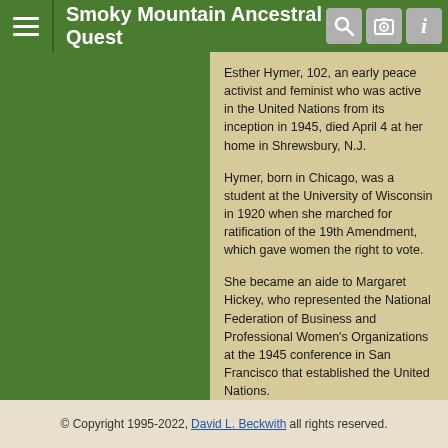Smoky Mountain Ancestral Quest
Esther Hymer, 102, an early peace activist and feminist who was active in the United Nations from its inception in 1945, died April 4 at her home in Shrewsbury, N.J.
Hymer, born in Chicago, was a student at the University of Wisconsin in 1920 when she marched for ratification of the 19th Amendment, which gave women the right to vote.
She became an aide to Margaret Hickey, who represented the National Federation of Business and Professional Women's Organizations at the 1945 conference in San Francisco that established the United Nations.
Later, Hymer was the federation's director of international relations and served as a nongovernmental representative to the U.N. for six decades, focusing on women's issues.
She amassed thousands of papers documenting the U.N.'s efforts on behalf of women, which she donated in 1997 to the library of the Women's Division of the United Methodist Church's General Board in New York.
© Copyright 1995-2022, David L. Beckwith all rights reserved.